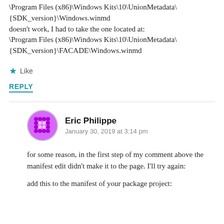\Program Files (x86)\Windows Kits\10\UnionMetadata\{SDK_version}\Windows.winmd doesn't work, I had to take the one located at: \Program Files (x86)\Windows Kits\10\UnionMetadata\{SDK_version}\FACADE\Windows.winmd
★ Like
REPLY
Eric Philippe
January 30, 2019 at 3:14 pm
for some reason, in the first step of my comment above the manifest edit didn't make it to the page. I'll try again:
add this to the manifest of your package project: